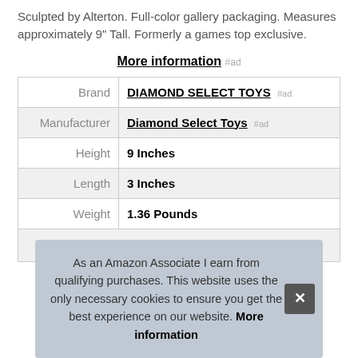Sculpted by Alterton. Full-color gallery packaging. Measures approximately 9" Tall. Formerly a games top exclusive.
More information #ad
| Brand | DIAMOND SELECT TOYS #ad |
| Manufacturer | Diamond Select Toys #ad |
| Height | 9 Inches |
| Length | 3 Inches |
| Weight | 1.36 Pounds |
As an Amazon Associate I earn from qualifying purchases. This website uses the only necessary cookies to ensure you get the best experience on our website. More information